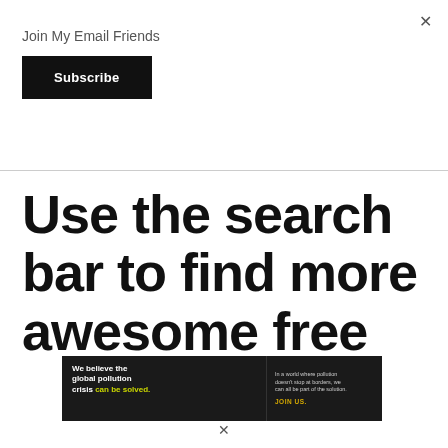×
Join My Email Friends
Subscribe
Use the search bar to find more awesome free
[Figure (infographic): Pure Earth advertisement banner: black background with text 'We believe the global pollution crisis can be solved.' with 'can be solved.' in yellow-green, and 'In a world where pollution doesn't stop at borders, we can all be part of the solution. JOIN US.' and Pure Earth logo with diamond/chevron icon.]
×